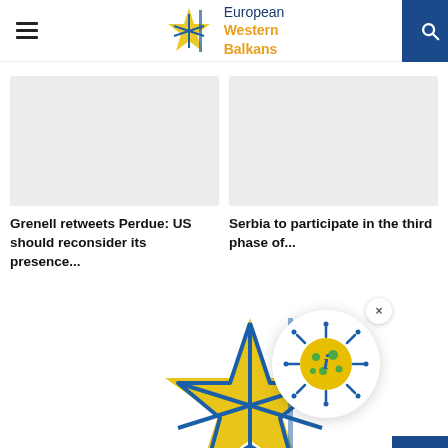[Figure (logo): European Western Balkans logo with star icon and text]
[Figure (photo): Article image placeholder - grey rectangle]
Grenell retweets Perdue: US should reconsider its presence...
[Figure (photo): Article image placeholder - grey rectangle]
Serbia to participate in the third phase of...
[Figure (logo): European Western Balkans large star logo at bottom]
[Figure (illustration): COVID-19 info widget - circular icon with coronavirus and letter i in yellow/green, with close button and scroll-to-top blue button]